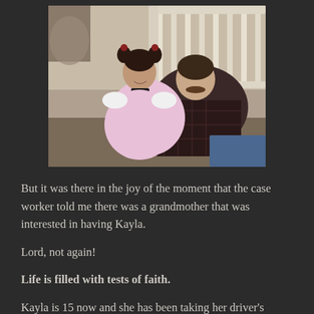[Figure (photo): A young girl in a pink dress and a man with a mustache in a plaid shirt sitting together in or near a white crib/cot. The photo appears to be from the 1990s.]
But it was there in the joy of the moment that the case worker told me there was a grandmother that was interested in having Kayla.
Lord, not again!
Life is filled with tests of faith.
Kayla is 15 now and she has been taking her driver's